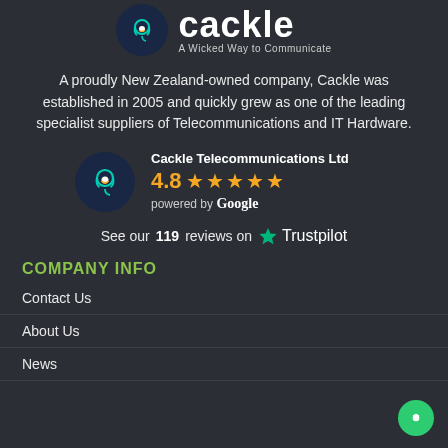[Figure (logo): Cackle logo: blue rounded square icon with headset/chat graphic, white bold text 'cackle', tagline 'A Wicked Way to Communicate']
A proudly New Zealand-owned company, Cackle was established in 2005 and quickly grew as one of the leading specialist suppliers of Telecommunications and IT Hardware.
[Figure (infographic): Google review widget: Cackle Telecommunications Ltd, rating 4.8 with 5 orange stars, powered by Google]
See our 119 reviews on Trustpilot
COMPANY INFO
Contact Us
About Us
News